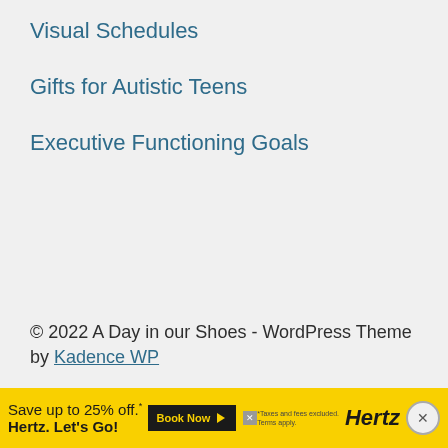Visual Schedules
Gifts for Autistic Teens
Executive Functioning Goals
© 2022 A Day in our Shoes - WordPress Theme by Kadence WP
AN ELITE CAFEMEDIA FAMILY & PARENTING PUBLISHER
[Figure (other): Hertz advertisement banner: Save up to 25% off. Hertz. Let's Go! Book Now button. Taxes and fees excluded. Terms apply.]